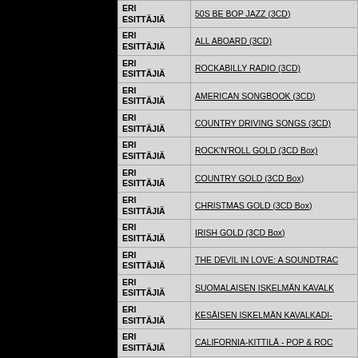| Artist | Title |
| --- | --- |
| ERI ESITTÄJIÄ | 50S BE BOP JAZZ (3CD) |
| ERI ESITTÄJIÄ | ALL ABOARD (3CD) |
| ERI ESITTÄJIÄ | ROCKABILLY RADIO (3CD) |
| ERI ESITTÄJIÄ | AMERICAN SONGBOOK (3CD) |
| ERI ESITTÄJIÄ | COUNTRY DRIVING SONGS (3CD) |
| ERI ESITTÄJIÄ | ROCK'N'ROLL GOLD (3CD Box) |
| ERI ESITTÄJIÄ | COUNTRY GOLD (3CD Box) |
| ERI ESITTÄJIÄ | CHRISTMAS GOLD (3CD Box) |
| ERI ESITTÄJIÄ | IRISH GOLD (3CD Box) |
| ERI ESITTÄJIÄ | THE DEVIL IN LOVE: A SOUNDTRAC |
| ERI ESITTÄJIÄ | SUOMALAISEN ISKELMÄN KAVALK |
| ERI ESITTÄJIÄ | KESÄISEN ISKELMÄN KAVALKADI- |
| ERI ESITTÄJIÄ | CALIFORNIA-KITTILÄ - POP & ROC |
| ERI ESITTÄJIÄ | UNLEASH THE POWER - VOLUME II |
| ERI ESITTÄJIÄ | TÄHTISADETTA 2012 (CD) |
| ERI ESITTÄJIÄ | ROCKING AND BOWLING (CD) |
| ERI ESITTÄJIÄ | MITÄ SUOMI TANSSII 2017 KOKOEL |
| ERI ESITTÄJIÄ | MITÄ SUOMI TANSSII 2018 KOKOEL |